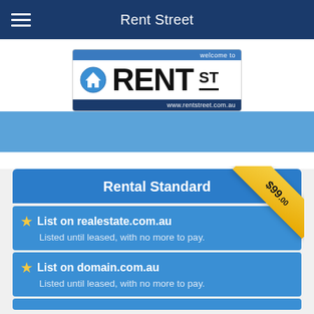Rent Street
[Figure (logo): Rent Street logo — number plate style with 'welcome to' at top, house icon, RENT ST text, and www.rentstreet.com.au at bottom]
Rental Standard
List on realestate.com.au — Listed until leased, with no more to pay.
List on domain.com.au — Listed until leased, with no more to pay.